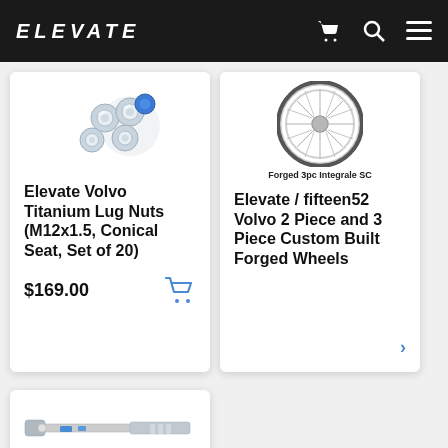ELEVATE
[Figure (photo): Elevate Volvo Titanium Lug Nuts product image showing chrome lug nuts with blue center pieces]
Elevate Volvo Titanium Lug Nuts (M12x1.5, Conical Seat, Set of 20)
$169.00
[Figure (photo): Forged 3pc Integrale SC wheel product image showing a chrome multi-spoke wheel]
Forged 3pc Integrale SC
Elevate / fifteen52 Volvo 2 Piece and 3 Piece Custom Built Forged Wheels
[Figure (photo): Partial product image at bottom of page showing what appears to be a tool or accessory]